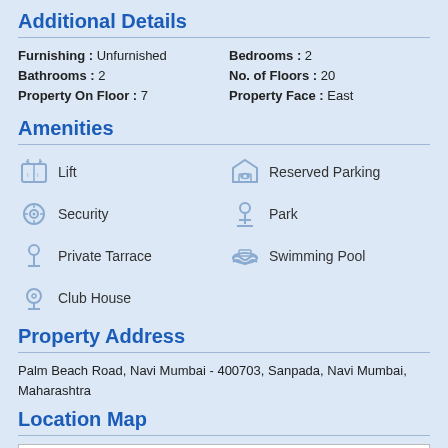Additional Details
Furnishing : Unfurnished   Bedrooms : 2   Bathrooms : 2   No. of Floors : 20   Property On Floor : 7   Property Face : East
Amenities
Lift
Reserved Parking
Security
Park
Private Tarrace
Swimming Pool
Club House
Property Address
Palm Beach Road, Navi Mumbai - 400703, Sanpada, Navi Mumbai, Maharashtra
Location Map
[Figure (map): Embedded location map placeholder (white rectangle)]